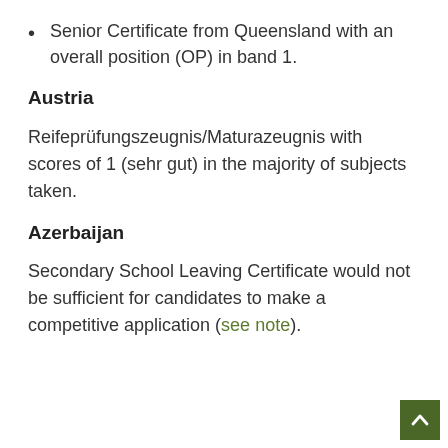Senior Certificate from Queensland with an overall position (OP) in band 1.
Austria
Reifeprüfungszeugnis/Maturazeugnis with scores of 1 (sehr gut) in the majority of subjects taken.
Azerbaijan
Secondary School Leaving Certificate would not be sufficient for candidates to make a competitive application (see note).